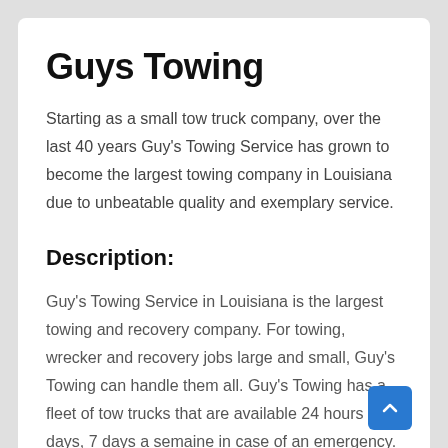Guys Towing
Starting as a small tow truck company, over the last 40 years Guy's Towing Service has grown to become the largest towing company in Louisiana due to unbeatable quality and exemplary service.
Description:
Guy's Towing Service in Louisiana is the largest towing and recovery company. For towing, wrecker and recovery jobs large and small, Guy's Towing can handle them all. Guy's Towing has a fleet of tow trucks that are available 24 hours a days, 7 days a semaine in case of an emergency. Give us a call today for a Tow in the Baton Rouge area!